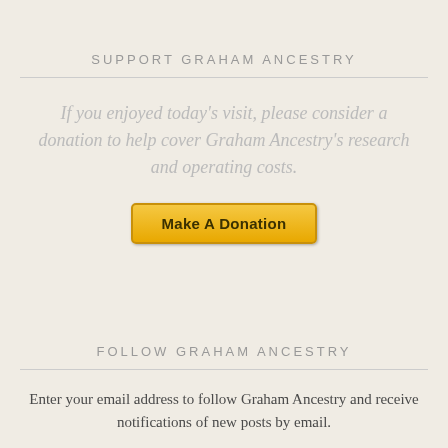SUPPORT GRAHAM ANCESTRY
If you enjoyed today's visit, please consider a donation to help cover Graham Ancestry's research and operating costs.
[Figure (other): PayPal Make A Donation button — orange/gold gradient button with bold text]
FOLLOW GRAHAM ANCESTRY
Enter your email address to follow Graham Ancestry and receive notifications of new posts by email.